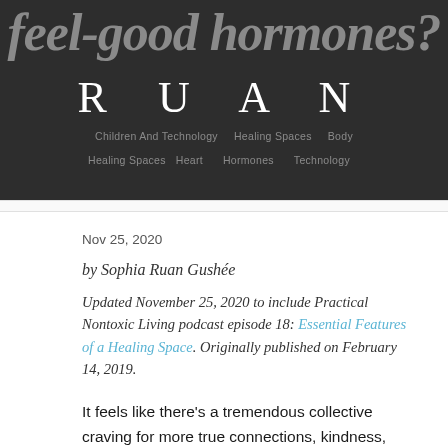feel-good hormones?
RUAN
Children And Technology   Healing Spaces   Heart   Hormones   Technology
Nov 25, 2020
by Sophia Ruan Gushée
Updated November 25, 2020 to include Practical Nontoxic Living podcast episode 18: Essential Features of a Healing Space. Originally published on February 14, 2019.
It feels like there's a tremendous collective craving for more true connections, kindness, and sincere love. Especially love for oneself.